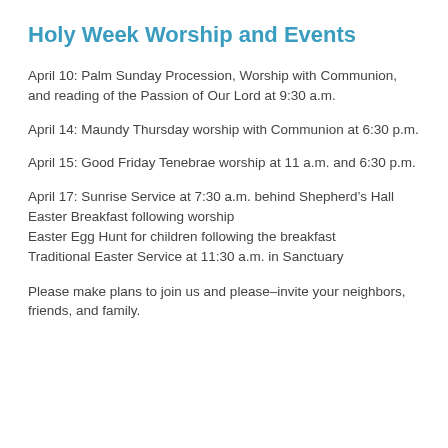Holy Week Worship and Events
April 10: Palm Sunday Procession, Worship with Communion, and reading of the Passion of Our Lord at 9:30 a.m.
April 14: Maundy Thursday worship with Communion at 6:30 p.m.
April 15: Good Friday Tenebrae worship at 11 a.m. and 6:30 p.m.
April 17: Sunrise Service at 7:30 a.m. behind Shepherd’s Hall
Easter Breakfast following worship
Easter Egg Hunt for children following the breakfast
Traditional Easter Service at 11:30 a.m. in Sanctuary
Please make plans to join us and please–invite your neighbors, friends, and family.